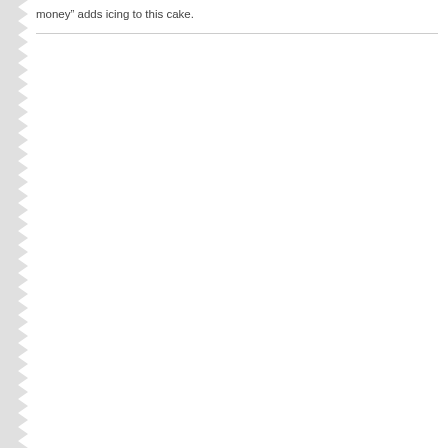money” adds icing to this cake.